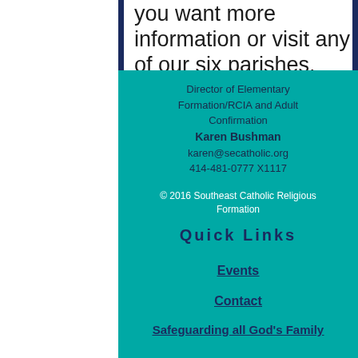you want more information or visit any of our six parishes.
Director of Elementary Formation/RCIA and Adult Confirmation
Karen Bushman
karen@secatholic.org
414-481-0777 X1117
© 2016 Southeast Catholic Religious Formation
Quick Links
Events
Contact
Safeguarding all God's Family